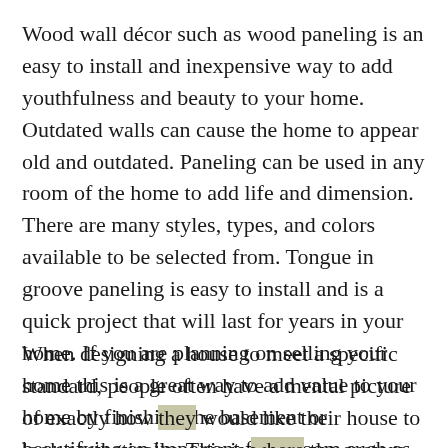Wood wall décor such as wood paneling is an easy to install and inexpensive way to add youthfulness and beauty to your home. Outdated walls can cause the home to appear old and outdated. Paneling can be used in any room of the home to add life and dimension. There are many styles, types, and colors available to be selected from. Tongue in groove paneling is easy to install and is a quick project that will last for years in your home. If you are planning on selling your home this is a great way to add value to your home by finishing the basement or beautifying an important focal room such as the living room.
When designing a house to meet a specific standard, people often have a mental picture of exactly how they would like their house to look aesthetically. This is where the custom-crafted items come into play, and is